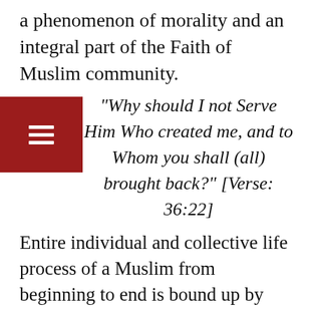a phenomenon of morality and an integral part of the Faith of Muslim community.
“Why should I not Serve Him Who created me, and to Whom you shall (all) brought back?” [Verse: 36:22]
Entire individual and collective life process of a Muslim from beginning to end is bound up by specific Moral Dictum. Every step of a Muslim in this Worldly life is guided by certain Quranic Laws of Morality. Every Creature individually or collectively has a fixed ‘Appointed Term’ that regulates its Origin, Development, Decay or Destruction as fundamental principles of Creative Evolutionary